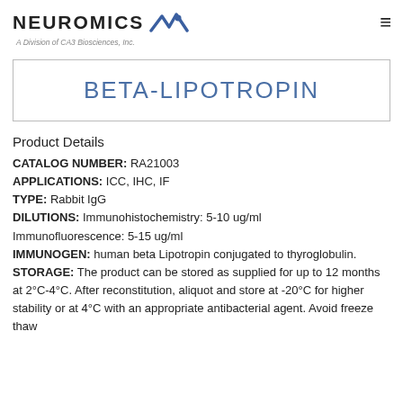NEUROMICS — A Division of CA3 Biosciences, Inc.
BETA-LIPOTROPIN
Product Details
CATALOG NUMBER: RA21003
APPLICATIONS: ICC, IHC, IF
TYPE: Rabbit IgG
DILUTIONS: Immunohistochemistry: 5-10 ug/ml
Immunofluorescence: 5-15 ug/ml
IMMUNOGEN: human beta Lipotropin conjugated to thyroglobulin.
STORAGE: The product can be stored as supplied for up to 12 months at 2°C-4°C. After reconstitution, aliquot and store at -20°C for higher stability or at 4°C with an appropriate antibacterial agent. Avoid freeze thaw